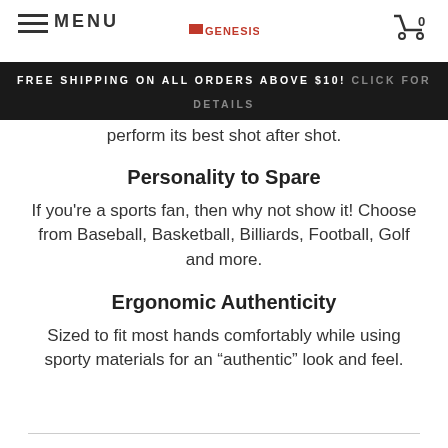MENU | GENESIS | 0
FREE SHIPPING ON ALL ORDERS ABOVE $10! CLICK FOR DETAILS
perform its best shot after shot.
Personality to Spare
If you’re a sports fan, then why not show it! Choose from Baseball, Basketball, Billiards, Football, Golf and more.
Ergonomic Authenticity
Sized to fit most hands comfortably while using sporty materials for an “authentic” look and feel.